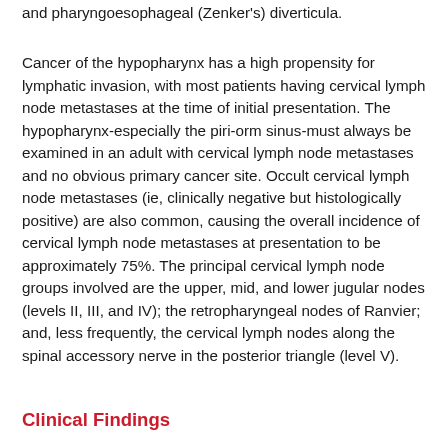and pharyngoesophageal (Zenker's) diverticula.
Cancer of the hypopharynx has a high propensity for lymphatic invasion, with most patients having cervical lymph node metastases at the time of initial presentation. The hypopharynx-especially the piri-orm sinus-must always be examined in an adult with cervical lymph node metastases and no obvious primary cancer site. Occult cervical lymph node metastases (ie, clinically negative but histologically positive) are also common, causing the overall incidence of cervical lymph node metastases at presentation to be approximately 75%. The principal cervical lymph node groups involved are the upper, mid, and lower jugular nodes (levels II, III, and IV); the retropharyngeal nodes of Ranvier; and, less frequently, the cervical lymph nodes along the spinal accessory nerve in the posterior triangle (level V).
Clinical Findings